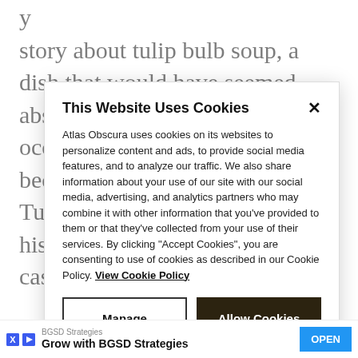story about tulip bulb soup, a dish that would have seemed absurd prior to the Nazi occupation—and not only because of the mild toxicity. Tulip bulbs already had a long history in the Netherlands as a cash crop
[Figure (screenshot): Cookie consent modal dialog overlay on a webpage. Title: 'This Website Uses Cookies'. Body text about Atlas Obscura using cookies. Two buttons: 'Manage Preferences' and 'Allow Cookies'. Close X button in top right.]
[Figure (screenshot): Advertisement banner at the bottom: 'Grow with BGSD Strategies' with blue OPEN button.]